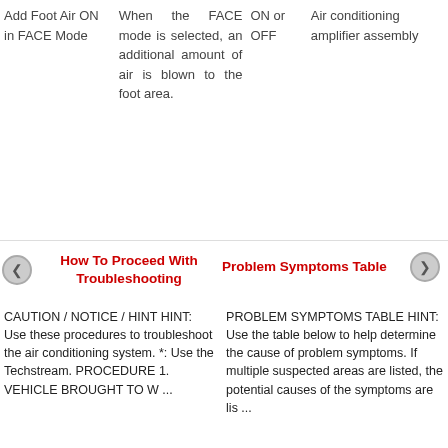Add Foot Air ON in FACE Mode
When the ON FACE mode OFF is selected, an additional amount of air is blown to the foot area.
ON or OFF
Air conditioning amplifier assembly
How To Proceed With Troubleshooting
Problem Symptoms Table
CAUTION / NOTICE / HINT HINT: Use these procedures to troubleshoot the air conditioning system. *: Use the Techstream. PROCEDURE 1. VEHICLE BROUGHT TO W ...
PROBLEM SYMPTOMS TABLE HINT: Use the table below to help determine the cause of problem symptoms. If multiple suspected areas are listed, the potential causes of the symptoms are lis ...